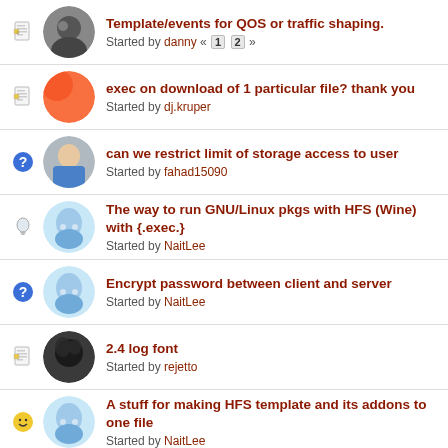Template/events for QOS or traffic shaping. Started by danny « 1 2 »
exec on download of 1 particular file? thank you Started by dj.kruper
can we restrict limit of storage access to user Started by fahad15090
The way to run GNU/Linux pkgs with HFS (Wine) with {.exec.} Started by NaitLee
Encrypt password between client and server Started by NaitLee
2.4 log font Started by rejetto
A stuff for making HFS template and its addons to one file Started by NaitLee
logout suggestion Started by zhenhai
HFS is awesome! Started by ValeriuR